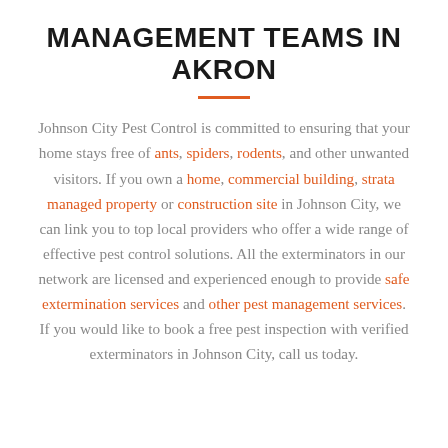MANAGEMENT TEAMS IN AKRON
Johnson City Pest Control is committed to ensuring that your home stays free of ants, spiders, rodents, and other unwanted visitors. If you own a home, commercial building, strata managed property or construction site in Johnson City, we can link you to top local providers who offer a wide range of effective pest control solutions. All the exterminators in our network are licensed and experienced enough to provide safe extermination services and other pest management services. If you would like to book a free pest inspection with verified exterminators in Johnson City, call us today.